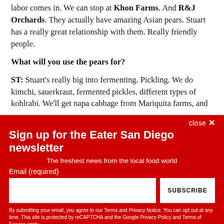labor comes in. We can stop at Khon Farms. And R&J Orchards. They actually have amazing Asian pears. Stuart has a really great relationship with them. Really friendly people.
What will you use the pears for?
ST: Stuart's really big into fermenting. Pickling. We do kimchi, sauerkraut, fermented pickles, different types of kohlrabi. We'll get napa cabbage from Mariquita farms, and
close ×
Sign up for the Eater San Diego newsletter
The freshest news from the local food world
Email (required)
SUBSCRIBE
By submitting your email, you agree to our Terms and Privacy Notice. You can opt out at any time. This site is protected by reCAPTCHA and the Google Privacy Policy and Terms of Service apply.